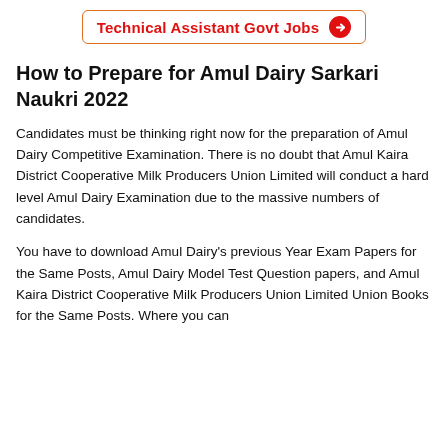[Figure (other): Banner button with text 'Technical Assistant Govt Jobs' and a red circular arrow icon, with orange border]
How to Prepare for Amul Dairy Sarkari Naukri 2022
Candidates must be thinking right now for the preparation of Amul Dairy Competitive Examination. There is no doubt that Amul Kaira District Cooperative Milk Producers Union Limited will conduct a hard level Amul Dairy Examination due to the massive numbers of candidates.
You have to download Amul Dairy's previous Year Exam Papers for the Same Posts, Amul Dairy Model Test Question papers, and Amul Kaira District Cooperative Milk Producers Union Limited Union Books for the Same Posts. Where you can